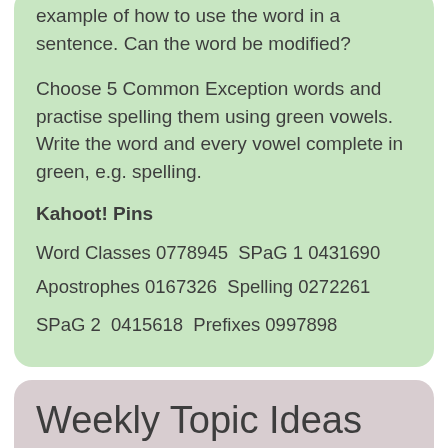example of how to use the word in a sentence. Can the word be modified?
Choose 5 Common Exception words and practise spelling them using green vowels. Write the word and every vowel complete in green, e.g. spelling.
Kahoot! Pins
Word Classes 0778945  SPaG 1 0431690
Apostrophes 0167326  Spelling 0272261
SPaG 2  0415618  Prefixes 0997898
Weekly Topic Ideas
Kahoot! Pins
Anglo Saxons 0424687